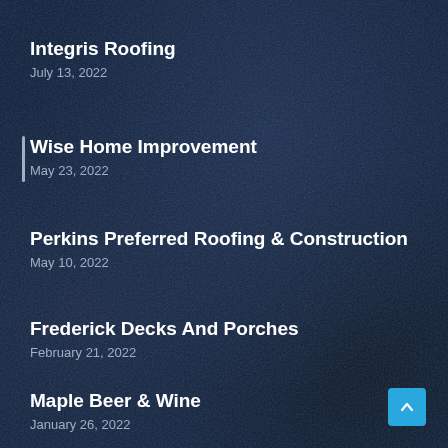Integris Roofing
July 13, 2022
Wise Home Improvement
May 23, 2022
Perkins Preferred Roofing & Construction
May 10, 2022
Frederick Decks And Porches
February 21, 2022
Maple Beer & Wine
January 26, 2022